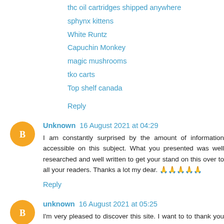thc oil cartridges shipped anywhere
sphynx kittens
White Runtz
Capuchin Monkey
magic mushrooms
tko carts
Top shelf canada
Reply
Unknown 16 August 2021 at 04:29
I am constantly surprised by the amount of information accessible on this subject. What you presented was well researched and well written to get your stand on this over to all your readers. Thanks a lot my dear. 🙏🙏🙏🙏🙏
Reply
unknown 16 August 2021 at 05:25
I'm very pleased to discover this site. I want to to thank you for ones time for this particularly wonderful read!! I definitely